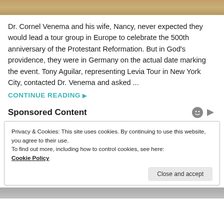[Figure (photo): Top portion of an image, appears to be a warm-toned scene (possibly wood or indoor setting), partially cropped at top of page]
Dr. Cornel Venema and his wife, Nancy, never expected they would lead a tour group in Europe to celebrate the 500th anniversary of the Protestant Reformation. But in God's providence, they were in Germany on the actual date marking the event. Tony Aguilar, representing Levia Tour in New York City, contacted Dr. Venema and asked ...
CONTINUE READING ▶
Sponsored Content
Privacy & Cookies: This site uses cookies. By continuing to use this website, you agree to their use.
To find out more, including how to control cookies, see here:
Cookie Policy
Close and accept
[Figure (photo): Bottom portion of an image, appears to be a grayscale artistic or portrait photo, partially visible at the bottom of the page]